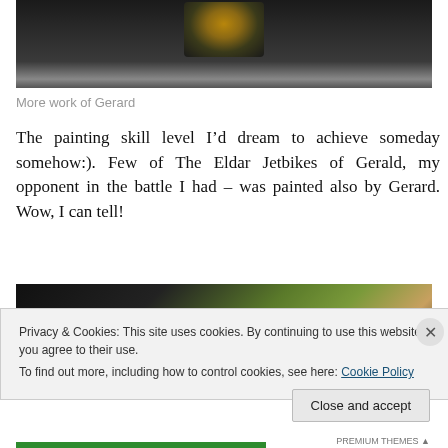[Figure (photo): Top portion of a dark photograph showing a painted miniature figure (Warhammer 40k style) on a dark background]
More work of Gerard
The painting skill level I'd dream to achieve someday somehow:). Few of The Eldar Jetbikes of Gerald, my opponent in the battle I had – was painted also by Gerard. Wow, I can tell!
[Figure (photo): Bottom portion of a photograph showing painted miniature figures with dark and olive/brown tones]
Privacy & Cookies: This site uses cookies. By continuing to use this website, you agree to their use.
To find out more, including how to control cookies, see here: Cookie Policy
Close and accept